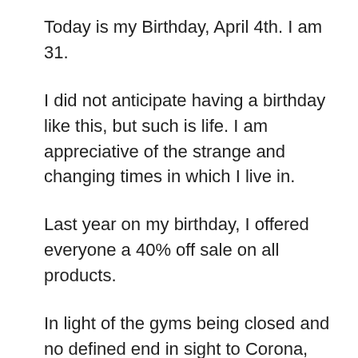Today is my Birthday, April 4th. I am 31.
I did not anticipate having a birthday like this, but such is life. I am appreciative of the strange and changing times in which I live in.
Last year on my birthday, I offered everyone a 40% off sale on all products.
In light of the gyms being closed and no defined end in sight to Corona, who knows when anyone can train again.
That said, I wanted to offer the code regardless.